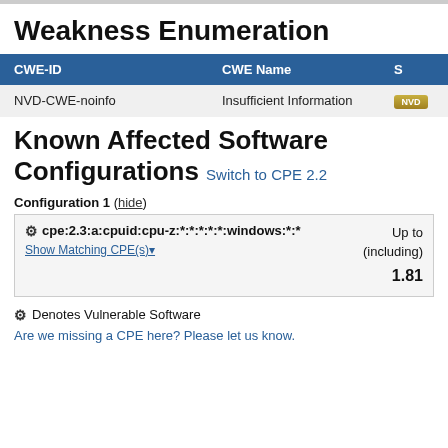Weakness Enumeration
| CWE-ID | CWE Name | S |
| --- | --- | --- |
| NVD-CWE-noinfo | Insufficient Information | NVD |
Known Affected Software Configurations Switch to CPE 2.2
Configuration 1 ( hide )
| CPE | Up to (including) |
| --- | --- |
| cpe:2.3:a:cpuid:cpu-z:*:*:*:*:*:windows:*:* | 1.81 |
Denotes Vulnerable Software
Are we missing a CPE here? Please let us know.